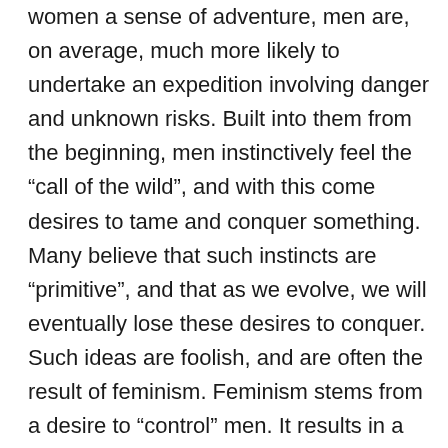women a sense of adventure, men are, on average, much more likely to undertake an expedition involving danger and unknown risks. Built into them from the beginning, men instinctively feel the “call of the wild”, and with this come desires to tame and conquer something. Many believe that such instincts are “primitive”, and that as we evolve, we will eventually lose these desires to conquer. Such ideas are foolish, and are often the result of feminism. Feminism stems from a desire to “control” men. It results in a backwards-thinking society. But feminism also results when men fail to lead as fathers and husbands. God’s plan for families is for men to be the head of the household, and women to be “suitable helpers” in this (Genesis 2:18). In the most functional families I know, the husband and wife understand their God-given positions.